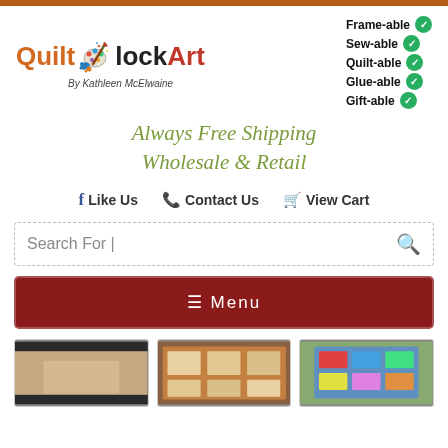[Figure (logo): Quilt Block Art logo with colorful paint splatter design, text 'Quilt Block Art By Kathleen McElwaine']
Frame-able ✓
Sew-able ✓
Quilt-able ✓
Glue-able ✓
Gift-able ✓
Always Free Shipping
Wholesale & Retail
Like Us   Contact Us   View Cart
Search For |
☰ Menu
[Figure (photo): Three product photos showing quilts/quilt blocks]